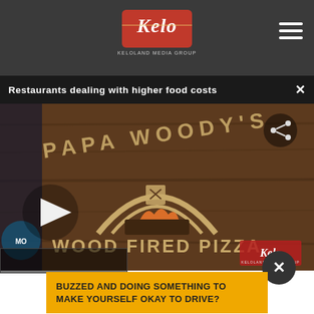KELOLAND MEDIA GROUP
Restaurants dealing with higher food costs
[Figure (photo): Papa Woody's Wood Fired Pizza restaurant sign on wood background with play button overlay and KELO watermark]
BUZZED AND DOING SOMETHING TO MAKE YOURSELF OKAY TO DRIVE?